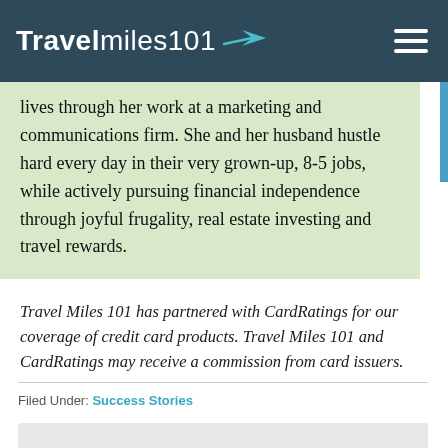Travelmiles101
lives through her work at a marketing and communications firm. She and her husband hustle hard every day in their very grown-up, 8-5 jobs, while actively pursuing financial independence through joyful frugality, real estate investing and travel rewards.
Travel Miles 101 has partnered with CardRatings for our coverage of credit card products. Travel Miles 101 and CardRatings may receive a commission from card issuers.
Filed Under: Success Stories
Never Miss a Post